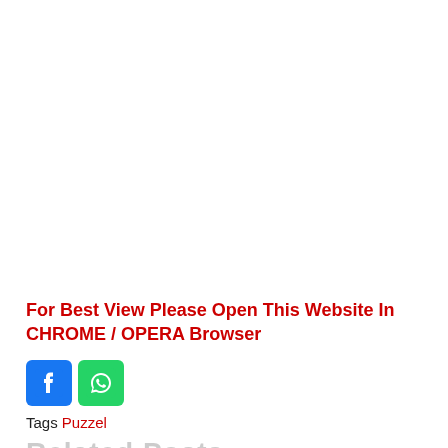For Best View Please Open This Website In CHROME / OPERA Browser
[Figure (other): Facebook and WhatsApp social share buttons]
Tags  Puzzel
Related Posts